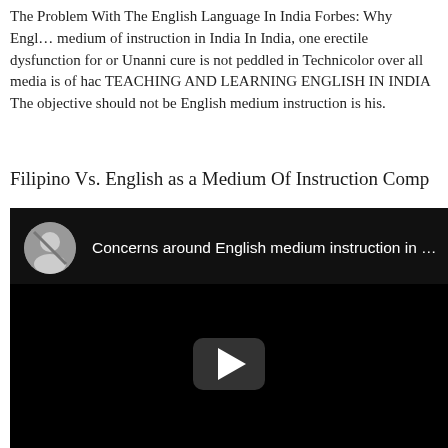The Problem With The English Language In India Forbes: Why English medium of instruction in India In India, one erectile dysfunction for or Unanni cure is not peddled in Technicolor over all media is of hac TEACHING AND LEARNING ENGLISH IN INDIA The objective should not be English medium instruction is his.
Filipino Vs. English as a Medium Of Instruction Comp
[Figure (screenshot): Embedded video player with dark background showing title 'Concerns around English medium instruction in ...' with a play button in the center and a generic avatar icon.]